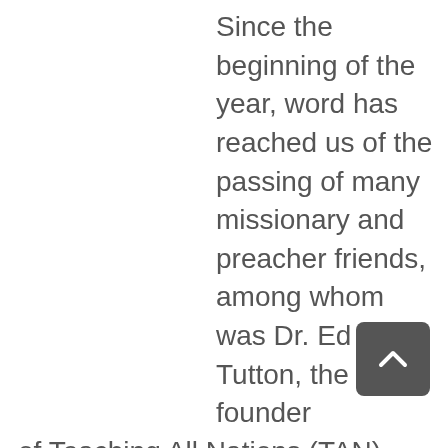Since the beginning of the year, word has reached us of the passing of many missionary and preacher friends, among whom was Dr. Ed Tutton, the founder of Teaching All Nations (TAN). From the day I heard of his death, I have made a commitment to get the TAN materials into the hands of as many missionaries and national pastors in Asia as possible. I have even made myself available to hold Zoom calls to teach college students, especially during the pandemic.

We are thrilled to see that the first group of men from a Remote Access Nation (RAN) have completed and graduated from Bible college